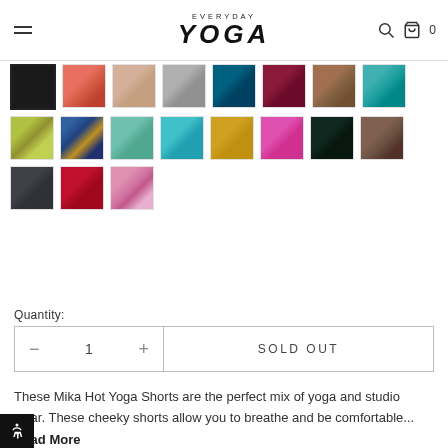EVERYDAY YOGA
[Figure (other): Color swatch grid with 19 color options. Row 1: black (selected), coral/salmon, taupe/blush, gray, teal, burgundy, brown, teal print. Row 2: yellow-green print, blue print, light mint, aqua, mustard yellow, pink/magenta, dark teal/forest, brown. Row 3: charcoal, crimson/red, pink floral print.]
Quantity:
SOLD OUT
These Mika Hot Yoga Shorts are the perfect mix of yoga and studio wear. These cheeky shorts allow you to breathe and be comfortable... Read More